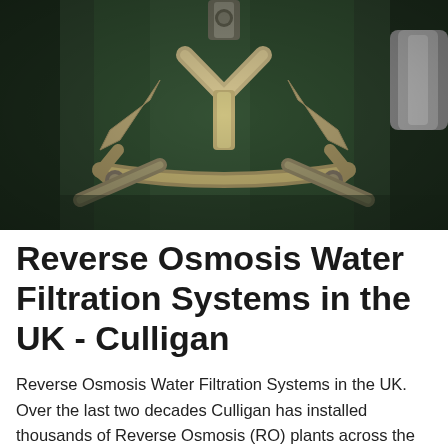[Figure (photo): Close-up photograph of an industrial water filtration valve or pipe fitting component, showing a metallic bracket/clamp assembly with bolts set against a dark green pipe or vessel background. The metal fittings appear to be stainless steel or bronze coloured with a clamp-style connector visible.]
Reverse Osmosis Water Filtration Systems in the UK - Culligan
Reverse Osmosis Water Filtration Systems in the UK. Over the last two decades Culligan has installed thousands of Reverse Osmosis (RO) plants across the globe. Our experience extends from food and beverage